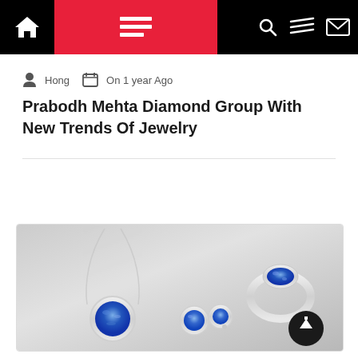Navigation bar with home, menu, dark mode, search, filter, and mail icons
Hong  On 1 year Ago
Prabodh Mehta Diamond Group With New Trends Of Jewelry
[Figure (photo): Silver jewelry set with blue gemstones: a pendant necklace, stud earrings, and a ring, displayed on a gray gradient background. A circular dark scroll-to-top button is overlaid at bottom right.]